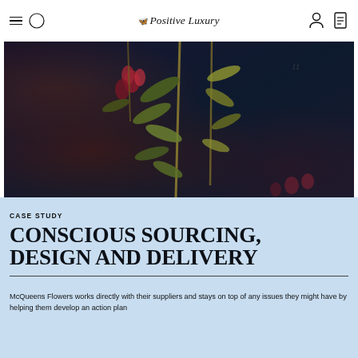Positive Luxury
[Figure (photo): Dark moody photograph of hanging floral branches with leaves and flowers against a very dark navy/black background. Plant material includes red/pink flowers, green and yellow leaves hanging downward.]
CASE STUDY
CONSCIOUS SOURCING, DESIGN AND DELIVERY
McQueens Flowers works directly with their suppliers and stays on top of any issues they might have by helping them develop an action plan